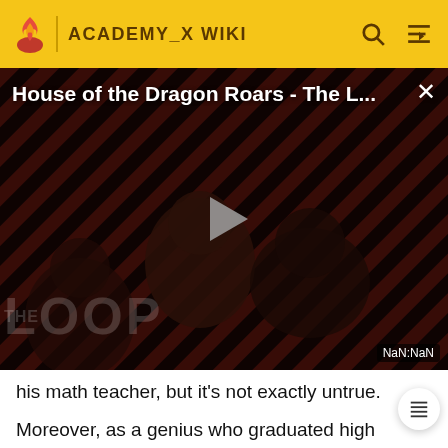ACADEMY_X WIKI
[Figure (screenshot): Video thumbnail for 'House of the Dragon Roars - The L...' with a play button overlay, dark background with diagonal red and black stripes, silhouettes of people, THE LOOP text watermark, and NaN:NaN time display]
his math teacher, but it's not exactly untrue.

Moreover, as a genius who graduated high school at 14, Nolan hasn't been around people his age for a long time. He welcomed the advancement, though, as pupils his age tended to beat him up and generally bully him. He is